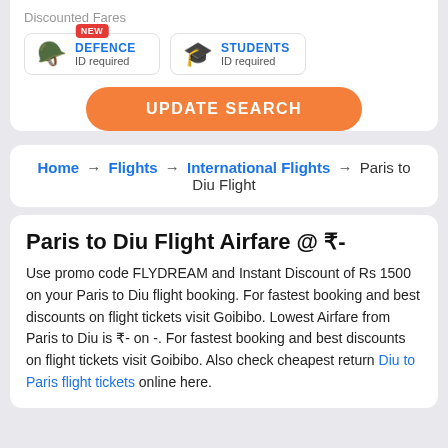Discounted Fares
DEFENCE ID required (NEW badge) | STUDENTS ID required
UPDATE SEARCH
Home → Flights → International Flights → Paris to Diu Flight
Paris to Diu Flight Airfare @ ₹-
Use promo code FLYDREAM and Instant Discount of Rs 1500 on your Paris to Diu flight booking. For fastest booking and best discounts on flight tickets visit Goibibo. Lowest Airfare from Paris to Diu is ₹- on -. For fastest booking and best discounts on flight tickets visit Goibibo. Also check cheapest return Diu to Paris flight tickets online here.